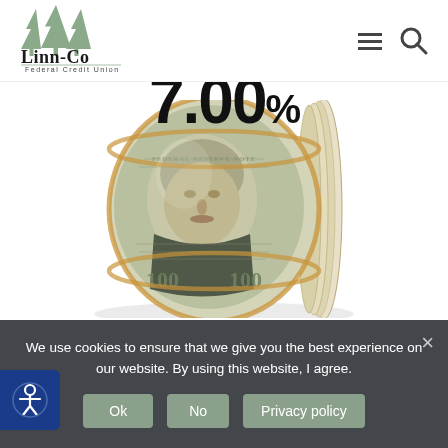[Figure (logo): Linn-Co Federal Credit Union logo with pine tree icon]
[Figure (photo): Roll of US $100 dollar bills held together with a rubber band, on white background]
We use cookies to ensure that we give you the best experience on our website. By using this website, I agree.
Ok
No
Privacy policy